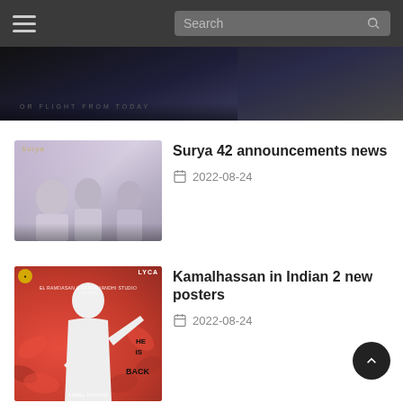Search
[Figure (photo): Dark cinematic banner image with text overlay appearing to say 'OR FLIGHT FROM TODAY']
[Figure (photo): Photo of three men at a Surya 42 announcement event]
Surya 42 announcements news
2022-08-24
[Figure (photo): Kamalhassan Indian 2 movie poster with red background, LYCA logo, text reading HE IS BACK and KAMAL HAASAN at bottom]
Kamalhassan in Indian 2 new posters
2022-08-24